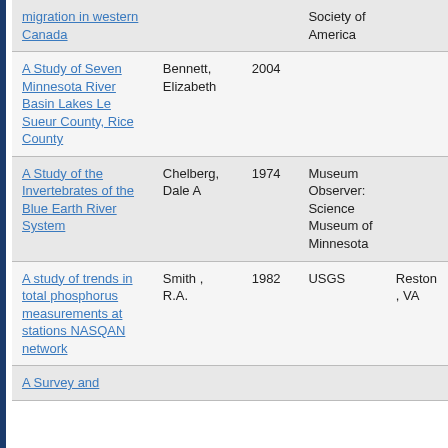| Title | Author | Year | Publisher | Location |
| --- | --- | --- | --- | --- |
| migration in western Canada |  |  | Society of America |  |
| A Study of Seven Minnesota River Basin Lakes Le Sueur County, Rice County | Bennett, Elizabeth | 2004 |  |  |
| A Study of the Invertebrates of the Blue Earth River System | Chelberg, Dale A | 1974 | Museum Observer: Science Museum of Minnesota |  |
| A study of trends in total phosphorus measurements at stations NASQAN network | Smith , R.A. | 1982 | USGS | Reston , VA |
| A Survey and |  |  |  |  |